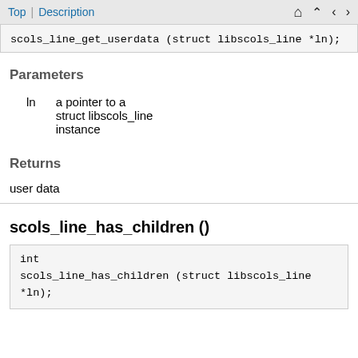Top | Description
scols_line_get_userdata (struct libscols_line *ln);
Parameters
ln   a pointer to a struct libscols_line instance
Returns
user data
scols_line_has_children ()
int
scols_line_has_children (struct libscols_line *ln);